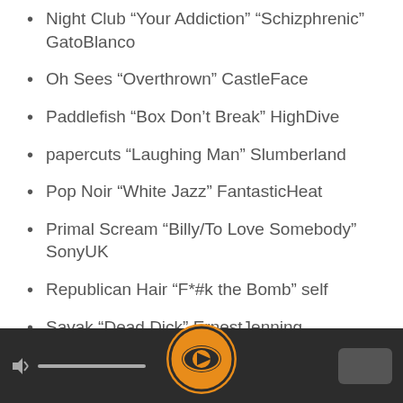Night Club “Your Addiction” “Schizphrenic” GatoBlanco
Oh Sees “Overthrown” CastleFace
Paddlefish “Box Don’t Break” HighDive
papercuts “Laughing Man” Slumberland
Pop Noir “White Jazz” FantasticHeat
Primal Scream “Billy/To Love Somebody” SonyUK
Republican Hair “F*#k the Bomb” self
Savak “Dead Dick” ErnestJenning
Sha La Da’s “Open My Eyes” Dunham
Soft Cell “Northern Lights” “Guilty (Cos I Say You Are)” UMC